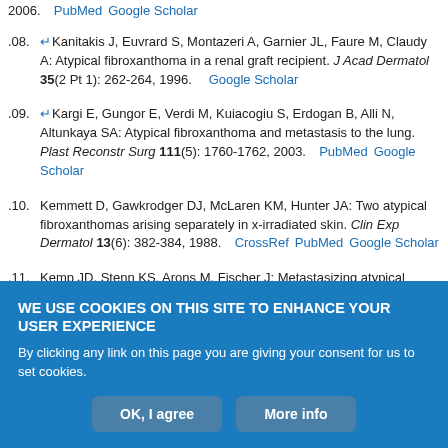2006.  PubMed  Google Scholar
108. ↵Kanitakis J, Euvrard S, Montazeri A, Garnier JL, Faure M, Claudy A: Atypical fibroxanthoma in a renal graft recipient. J Acad Dermatol 35(2 Pt 1): 262-264, 1996.   Google Scholar
109. ↵Kargi E, Gungor E, Verdi M, Kuiacogiu S, Erdogan B, Alli N, Altunkaya SA: Atypical fibroxanthoma and metastasis to the lung. Plast Reconstr Surg 111(5): 1760-1762, 2003.  PubMed  Google Scholar
110. Kemmett D, Gawkrodger DJ, McLaren KM, Hunter JA: Two atypical fibroxanthomas arising separately in x-irradiated skin. Clin Exp Dermatol 13(6): 382-384, 1988.  CrossRef  PubMed  Google Scholar
111. Kemp JD, Stenn KS, Arons M, Fischer J: Metastasizing atypical
WE USE COOKIES ON THIS SITE TO ENHANCE YOUR USER EXPERIENCE
By clicking any link on this page you are giving your consent for us to set cookies.